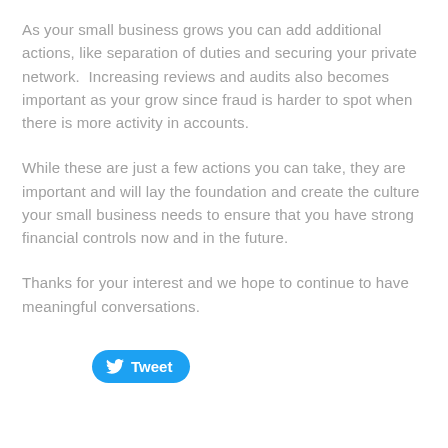As your small business grows you can add additional actions, like separation of duties and securing your private network.  Increasing reviews and audits also becomes important as your grow since fraud is harder to spot when there is more activity in accounts.
While these are just a few actions you can take, they are important and will lay the foundation and create the culture your small business needs to ensure that you have strong financial controls now and in the future.
Thanks for your interest and we hope to continue to have meaningful conversations.
[Figure (other): Twitter Tweet button with bird icon and 'Tweet' label in blue rounded rectangle]